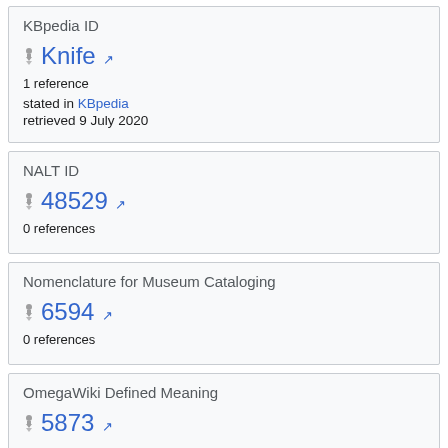KBpedia ID
Knife [external link]
1 reference
stated in KBpedia
retrieved 9 July 2020
NALT ID
48529 [external link]
0 references
Nomenclature for Museum Cataloging
6594 [external link]
0 references
OmegaWiki Defined Meaning
5873 [external link]